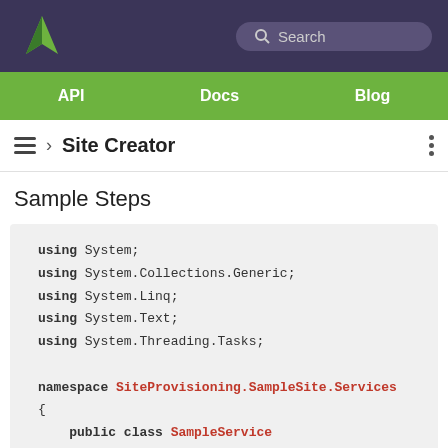Search
API  Docs  Blog
› Site Creator
Sample Steps
using System;
using System.Collections.Generic;
using System.Linq;
using System.Text;
using System.Threading.Tasks;

namespace SiteProvisioning.SampleSite.Services
{
    public class SampleService
    {
        public SampleService()
        {